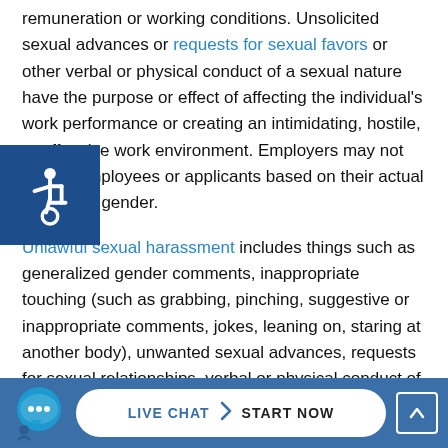remuneration or working conditions. Unsolicited sexual advances or requests for sexual favors or other verbal or physical conduct of a sexual nature have the purpose or effect of affecting the individual's work performance or creating an intimidating, hostile, or offensive work environment. Employers may not harass employees or applicants based on their actual or alleged gender.
Unlawful sexual harassment includes things such as generalized gender comments, inappropriate touching (such as grabbing, pinching, suggestive or inappropriate comments, jokes, leaning on, staring at another body), unwanted sexual advances, requests for sexual relationships, verbal or physical conduct of a
[Figure (other): Accessibility icon (wheelchair symbol) on dark blue square badge, positioned at left side of page]
[Figure (other): Bottom navigation bar with live chat bubble icon, LIVE CHAT > START NOW button on blue background]